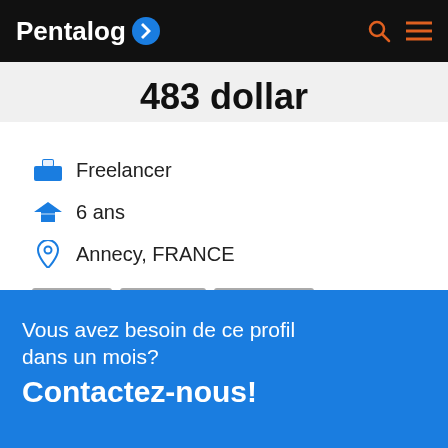Pentalog
483 dollar
Freelancer
6 ans
Annecy, FRANCE
ZBrush
Unity3D
Illustration
Animation
Vous avez besoin de ce profil dans un mois?
Contactez-nous!